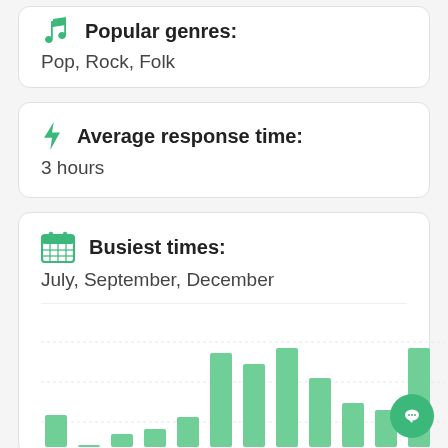Popular genres: Pop, Rock, Folk
Average response time: 3 hours
Busiest times: July, September, December
[Figure (bar-chart): Busiest times]